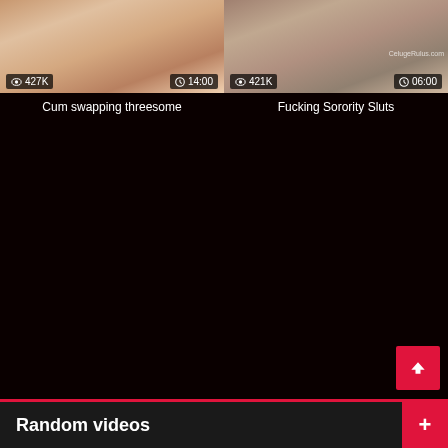[Figure (screenshot): Video thumbnail for 'Cum swapping threesome' showing view count 427K and duration 14:00]
Cum swapping threesome
[Figure (screenshot): Video thumbnail for 'Fucking Sorority Sluts' showing view count 421K and duration 06:00]
Fucking Sorority Sluts
Random videos